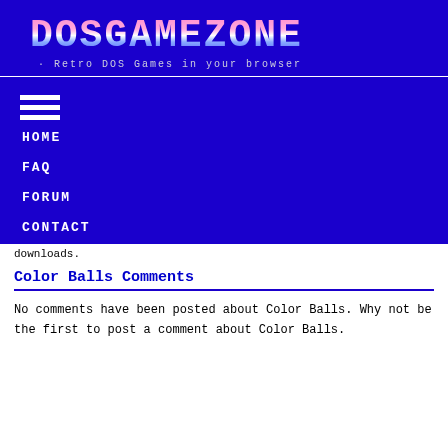DOSGAMEZONE — Retro DOS Games in your browser
HOME
FAQ
FORUM
CONTACT
downloads.
Color Balls Comments
No comments have been posted about Color Balls. Why not be the first to post a comment about Color Balls.